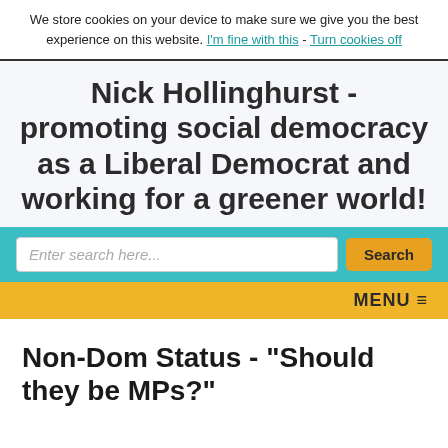We store cookies on your device to make sure we give you the best experience on this website. I'm fine with this - Turn cookies off
Nick Hollinghurst - promoting social democracy as a Liberal Democrat and working for a greener world!
Enter search here... Search
MENU
Non-Dom Status - "Should they be MPs?"